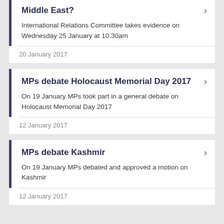Middle East?
International Relations Committee takes evidence on Wednesday 25 January at 10.30am
20 January 2017
MPs debate Holocaust Memorial Day 2017
On 19 January MPs took part in a general debate on Holocaust Memorial Day 2017
12 January 2017
MPs debate Kashmir
On 19 January MPs debated and approved a motion on Kashmir
12 January 2017